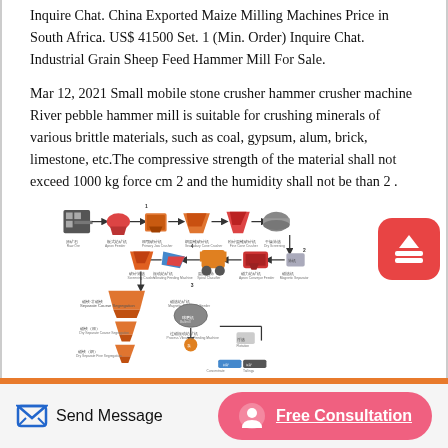Inquire Chat. China Exported Maize Milling Machines Price in South Africa. US$ 41500 Set. 1 (Min. Order) Inquire Chat. Industrial Grain Sheep Feed Hammer Mill For Sale.
Mar 12, 2021 Small mobile stone crusher hammer crusher machine River pebble hammer mill is suitable for crushing minerals of various brittle materials, such as coal, gypsum, alum, brick, limestone, etc.The compressive strength of the material shall not exceed 1000 kg force cm 2 and the humidity shall not be than 2 .
[Figure (flowchart): Industrial flowchart diagram showing a stone crushing/milling process flow with machinery icons (crushers, conveyors, screeners) connected by arrows, with Chinese text labels underneath each machine component. Multiple stages shown in a top-to-bottom flow with numbered steps.]
Send Message | Free Consultation